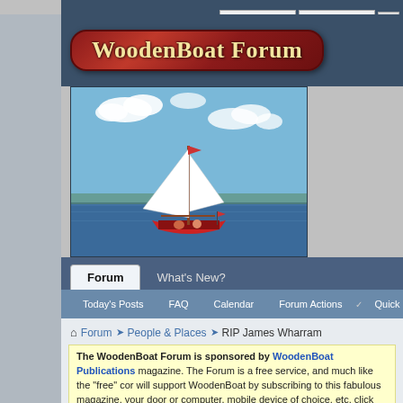[Figure (screenshot): WoodenBoat Forum website screenshot showing the forum header with logo banner, sailboat image, navigation tabs (Forum, What's New?), sub-navigation links (Today's Posts, FAQ, Calendar, Forum Actions, Quick Links), breadcrumb navigation (Forum > People & Places > RIP James Wharram), and a notice box about WoodenBoat Publications sponsorship.]
WoodenBoat Forum
Forum | What's New?
Today's Posts | FAQ | Calendar | Forum Actions | Quick Links
Forum ➤ People & Places ➤ RIP James Wharram
The WoodenBoat Forum is sponsored by WoodenBoat Publications magazine. The Forum is a free service, and much like the "free" content will support WoodenBoat by subscribing to this fabulous magazine your door or computer, mobile device of choice, etc, click WB Subs